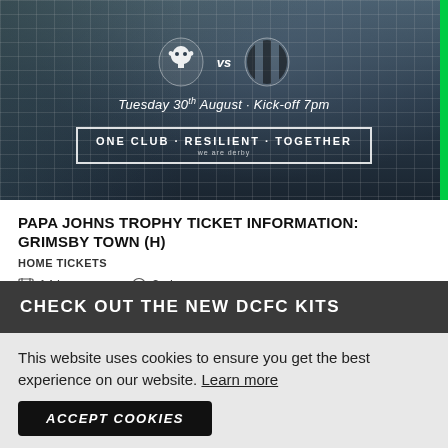[Figure (photo): Derby County vs Grimsby Town match promotional image showing a goalkeeper in front of a net, with club badges, date 'Tuesday 30th August · Kick-off 7pm', and slogan box reading 'ONE CLUB · RESILIENT · TOGETHER'. Green bar on the right edge.]
PAPA JOHNS TROPHY TICKET INFORMATION: GRIMSBY TOWN (H)
HOME TICKETS
14 hours ago  2mins
CHECK OUT THE NEW DCFC KITS
This website uses cookies to ensure you get the best experience on our website. Learn more
ACCEPT COOKIES